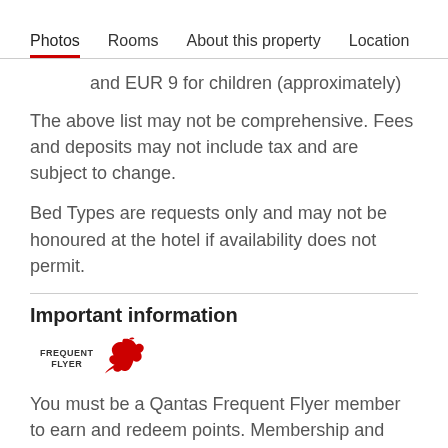Photos   Rooms   About this property   Location
and EUR 9 for children (approximately)
The above list may not be comprehensive. Fees and deposits may not include tax and are subject to change.
Bed Types are requests only and may not be honoured at the hotel if availability does not permit.
Important information
[Figure (logo): Qantas Frequent Flyer logo — text FREQUENT FLYER with red kangaroo silhouette]
You must be a Qantas Frequent Flyer member to earn and redeem points. Membership and points are subject to the Qantas Frequent Flyer program terms and conditions.